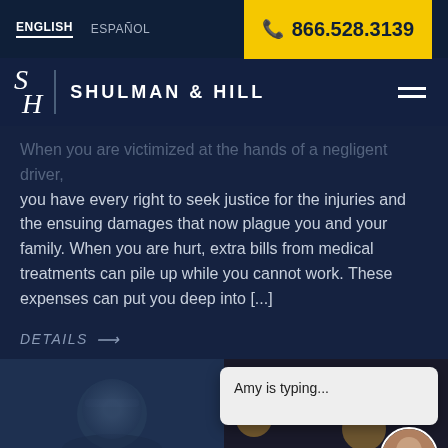ENGLISH  ESPAÑOL  ☎ 866.528.3139
SHULMAN & HILL
When you are victimized at the hands of a negligent driver, you have every right to seek justice for the injuries and the ensuing damages that now plague you and your family. When you are hurt, extra bills from medical treatments can pile up while you cannot work. These expenses can put you deep into [...]
DETAILS →
Amy is typing...
[Figure (photo): Bottom section showing two photos side by side on dark navy background, with a chat bubble overlay saying 'Amy is typing...' and a woman avatar in the bottom right corner]